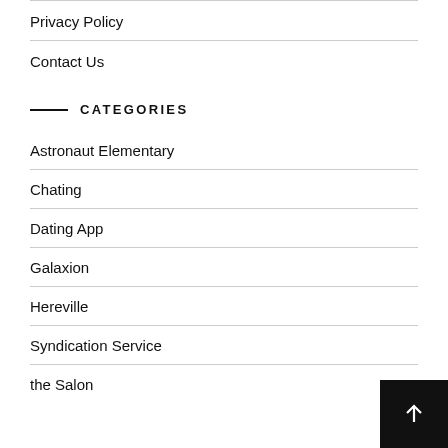Privacy Policy
Contact Us
CATEGORIES
Astronaut Elementary
Chating
Dating App
Galaxion
Hereville
Syndication Service
the Salon